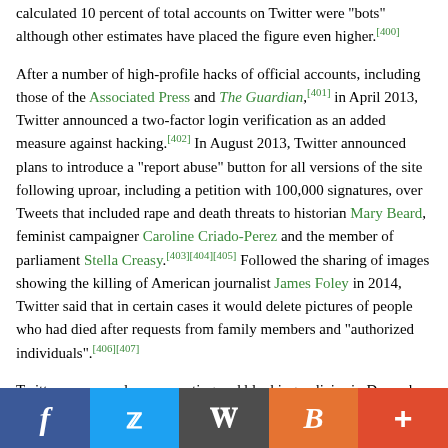calculated 10 percent of total accounts on Twitter were "bots" although other estimates have placed the figure even higher.[400]
After a number of high-profile hacks of official accounts, including those of the Associated Press and The Guardian,[401] in April 2013, Twitter announced a two-factor login verification as an added measure against hacking.[402] In August 2013, Twitter announced plans to introduce a "report abuse" button for all versions of the site following uproar, including a petition with 100,000 signatures, over Tweets that included rape and death threats to historian Mary Beard, feminist campaigner Caroline Criado-Perez and the member of parliament Stella Creasy.[403][404][405] Followed the sharing of images showing the killing of American journalist James Foley in 2014, Twitter said that in certain cases it would delete pictures of people who had died after requests from family members and "authorized individuals".[406][407]
Twitter announced new reporting and blocking policies in December 2014,[408][409][410][411] including a blocking mechanism devised by Randi Harper, a target of GamerGate.[412][413][414] In February 2015, CEO Dick Costolo said he was 'frankly ashamed' at how poorly Twitter handled trolling and abuse, and admitted Twitter had lost users as a result.[415]